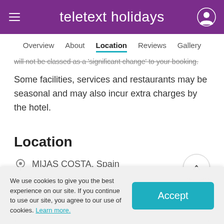teletext holidays
Overview  About  Location  Reviews  Gallery
will not be classed as a 'significant change' to your booking.
Some facilities, services and restaurants may be seasonal and may also incur extra charges by the hotel.
Location
MIJAS COSTA, Spain
[Figure (map): Map placeholder showing location of MIJAS COSTA, Spain with a broken image icon in the top-left corner]
We use cookies to give you the best experience on our site. If you continue to use our site, you agree to our use of cookies. Learn more.